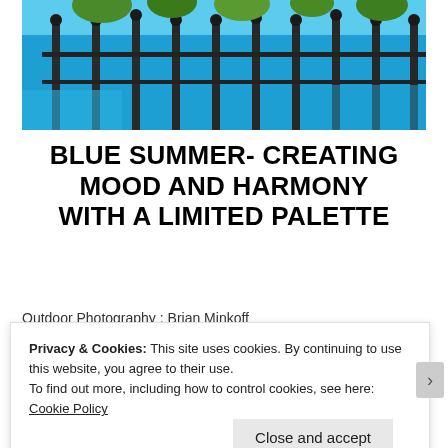[Figure (photo): Outdoor photograph showing iron fence posts with decorative tops, green trees/plants visible above, bright blue wall or structure in background, vibrant and colorful urban scene.]
BLUE SUMMER- CREATING MOOD AND HARMONY WITH A LIMITED PALETTE
Outdoor Photography : Brian Minkoff
[Figure (photo): Partial view of a blue-toned image, cut off by cookie consent overlay.]
Privacy & Cookies: This site uses cookies. By continuing to use this website, you agree to their use.
To find out more, including how to control cookies, see here: Cookie Policy
Close and accept